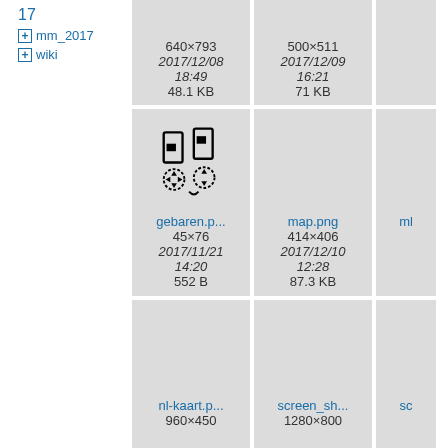17
+ mm_2017
+ wiki
[Figure (screenshot): File grid showing thumbnails: row1 col1 has no visible image (640×793, 2017/12/08 18:49, 48.1 KB), row1 col2 (500×511, 2017/12/09 16:21, 71 KB), row1 col3 partial. Row2: gebaren.p... (45×76, 2017/11/21 14:20, 552 B), map.png (414×406, 2017/12/10 12:28, 87.3 KB), partial col. Row3: nl-kaart.p... (960×450), screen_sh... (1280×800), partial col.]